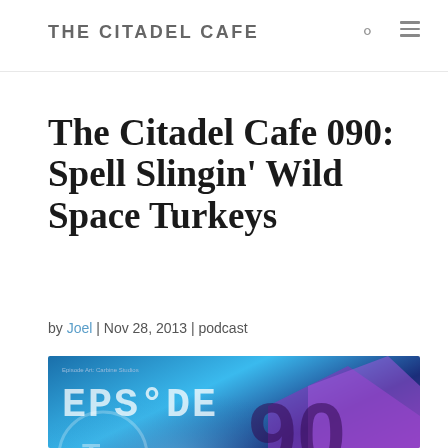THE CITADEL CAFE
The Citadel Cafe 090: Spell Slingin' Wild Space Turkeys
by Joel | Nov 28, 2013 | podcast
[Figure (photo): Episode 90 artwork showing a gaming scene with blue and purple tones, featuring large text 'EPS°DE 90' and subtitle 'Spell Slingin']